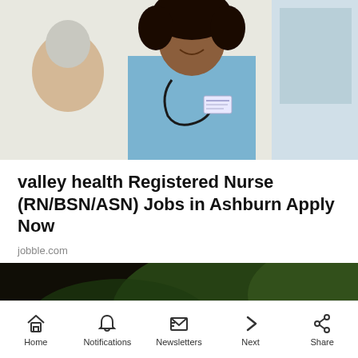[Figure (photo): A smiling nurse in blue scrubs with a stethoscope talking to an elderly patient]
valley health Registered Nurse (RN/BSN/ASN) Jobs in Ashburn Apply Now
jobble.com
[Figure (photo): A red portable Bluetooth speaker (Ultimate Ears style) on a wooden surface with green foliage background]
Home  Notifications  Newsletters  Next  Share